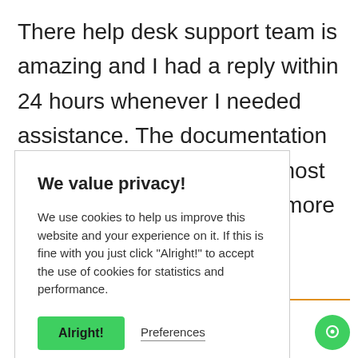There help desk support team is amazing and I had a reply within 24 hours whenever I needed assistance. The documentation guide was able to answer most of my questions outside of more technical issues."
We value privacy!
We use cookies to help us improve this website and your experience on it. If this is fine with you just click "Alright!" to accept the use of cookies for statistics and performance.
Alright!  Preferences